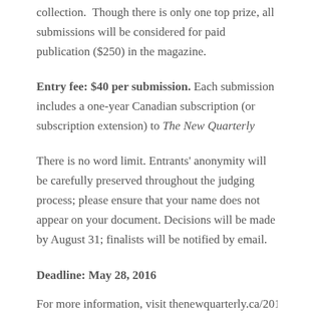collection.  Though there is only one top prize, all submissions will be considered for paid publication ($250) in the magazine.
Entry fee: $40 per submission. Each submission includes a one-year Canadian subscription (or subscription extension) to The New Quarterly
There is no word limit. Entrants' anonymity will be carefully preserved throughout the judging process; please ensure that your name does not appear on your document. Decisions will be made by August 31; finalists will be notified by email.
Deadline: May 28, 2016
For more information, visit thenewquarterly.ca/2016 The